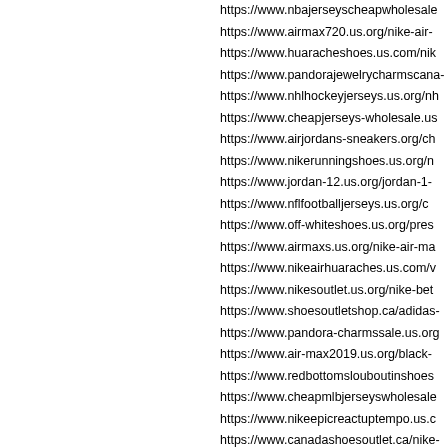https://www.nbajerseyscheapwholesale...
https://www.airmax720.us.org/nike-air-...
https://www.huaracheshoes.us.com/nik...
https://www.pandorajewelrycharmscana-...
https://www.nhlhockeyjerseys.us.org/nh...
https://www.cheapjerseys-wholesale.us...
https://www.airjordans-sneakers.org/ch...
https://www.nikerunningshoes.us.org/n...
https://www.jordan-12.us.org/jordan-1-...
https://www.nflfootballjerseys.us.org/c...
https://www.off-whiteshoes.us.org/pres...
https://www.airmaxs.us.org/nike-air-ma...
https://www.nikeairhuaraches.us.com/v...
https://www.nikesoutlet.us.org/nike-bet...
https://www.shoesoutletshop.ca/adidas-...
https://www.pandora-charmssale.us.org...
https://www.air-max2019.us.org/black-...
https://www.redbottomslouboutinshoes...
https://www.cheapmlbjerseyswholesale...
https://www.nikeepicreactuptempo.us.c...
https://www.canadashoesoutlet.ca/nike-...
https://www.pandora.us.org/pandora-fri...